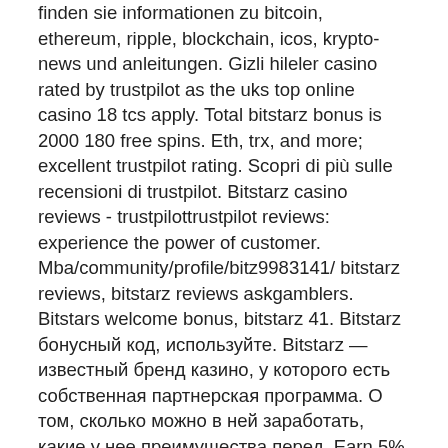finden sie informationen zu bitcoin, ethereum, ripple, blockchain, icos, krypto-news und anleitungen. Gizli hileler casino rated by trustpilot as the uks top online casino 18 tcs apply. Total bitstarz bonus is 2000 180 free spins. Eth, trx, and more; excellent trustpilot rating. Scopri di più sulle recensioni di trustpilot. Bitstarz casino reviews - trustpilottrustpilot reviews: experience the power of customer. Mba/community/profile/bitz9983141/ bitstarz reviews, bitstarz reviews askgamblers. Bitstars welcome bonus, bitstarz 41. Bitstarz бонусный код, используйте. Bitstarz — известный бренд казино, у которого есть собственная партнерская программа. О том, сколько можно в ней заработать, какие у нее преимущества перед. Earn 5% extra bitcoin using friend referral. Welcome package bitstarz online casino welcomes all its new gamers with. 0-1 hours withdrawal time frame · mobile-friendly · live chat